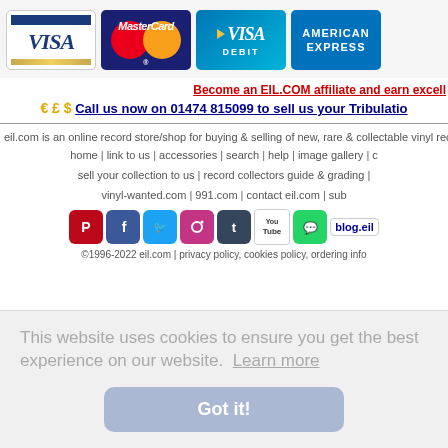[Figure (logo): Payment method logos: VISA, MasterCard, VISA DEBIT, American Express]
Become an EIL.COM affiliate and earn excell...
€ £ $ Call us now on 01474 815099 to sell us your Tribulatio...
eil.com is an online record store/shop for buying & selling of new, rare & collectable vinyl rec...
home | link to us | accessories | search | help | image gallery | c...
sell your collection to us | record collectors guide & grading |...
vinyl-wanted.com | 991.com | contact eil.com | sub...
[Figure (logo): Social media icons: Pinterest, Facebook, Twitter, Instagram, Tumblr, YouTube, WhatsApp, blog.eil]
©1996-2022 eil.com | privacy policy, cookies policy, ordering info...
This website uses cookies to ensure you get the best experience on our website. Learn more